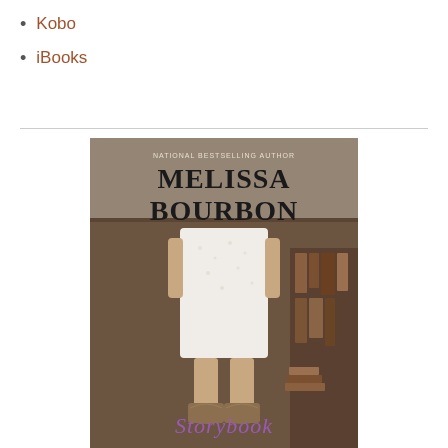Kobo
iBooks
[Figure (photo): Book cover for 'Storybook' by Melissa Bourbon, National Bestselling Author. Shows a woman in a white floral dress and cowboy boots standing in front of a rustic background with books. The title appears at the bottom in purple script.]